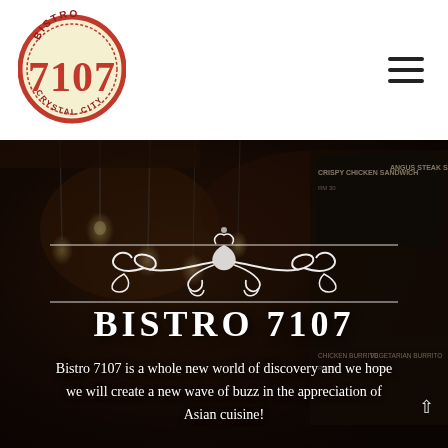[Figure (logo): Bistro 7107 Crystal City circular logo with red border on cream background, text BISTRO on top, large 7107 in red, CRYSTAL CITY along bottom arc]
[Figure (other): Hamburger menu icon with three horizontal dark bars]
[Figure (photo): Dark restaurant interior background with hanging Edison bulbs and food menu boards visible, showing items like Crispy Chicken Sandwich, Angus Steak Sandwich, Chicken Burrito, Vegetarian Burrito. An ornamental white scroll flourish divider is overlaid in the center.]
BISTRO 7107
Bistro 7107 is a whole new world of discovery and we hope we will create a new wave of buzz in the appreciation of Asian cuisine!